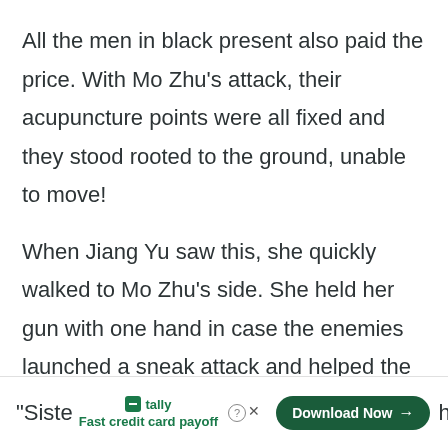All the men in black present also paid the price. With Mo Zhu's attack, their acupuncture points were all fixed and they stood rooted to the ground, unable to move!
When Jiang Yu saw this, she quickly walked to Mo Zhu's side. She held her gun with one hand in case the enemies launched a sneak attack and helped the girl up from the ground with the other.
“Siste [ad overlay] he